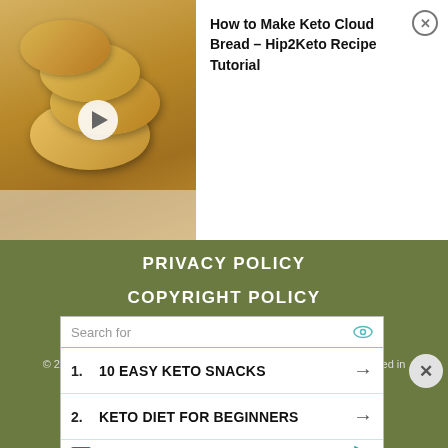[Figure (screenshot): Video thumbnail showing keto cloud bread (golden round flatbreads) with a white play button overlay]
How to Make Keto Cloud Bread - Hip2Keto Recipe Tutorial
PRIVACY POLICY
COPYRIGHT POLICY
HIP2SAVE
© 2011 - 2022 All rights reserved. No content on this site may be reused in any fashion without written
[Figure (screenshot): Advertisement box with search bar, two keto-related search suggestions (10 Easy Keto Snacks, Keto Diet for Beginners), and Business Focus ad label]